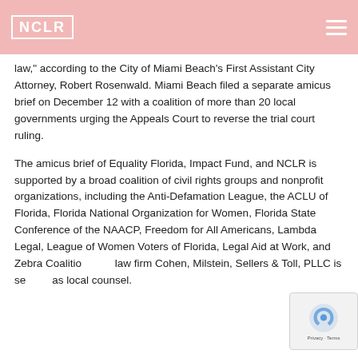NCLR
law," according to the City of Miami Beach's First Assistant City Attorney, Robert Rosenwald. Miami Beach filed a separate amicus brief on December 12 with a coalition of more than 20 local governments urging the Appeals Court to reverse the trial court ruling.
The amicus brief of Equality Florida, Impact Fund, and NCLR is supported by a broad coalition of civil rights groups and nonprofit organizations, including the Anti-Defamation League, the ACLU of Florida, Florida National Organization for Women, Florida State Conference of the NAACP, Freedom for All Americans, Lambda Legal, League of Women Voters of Florida, Legal Aid at Work, and Zebra Coalition. The law firm Cohen, Milstein, Sellers & Toll, PLLC is serving as local counsel.